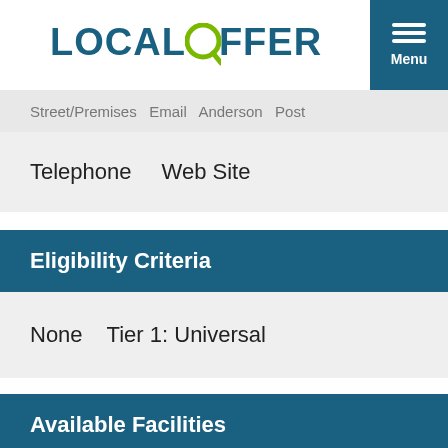LOCAL OFFER
Street/Premises  Email  Anderson  Post
Telephone  Web Site
Eligibility Criteria
None  Tier 1: Universal
Available Facilities
Car Parking  Full Day-care  Healthy Eating